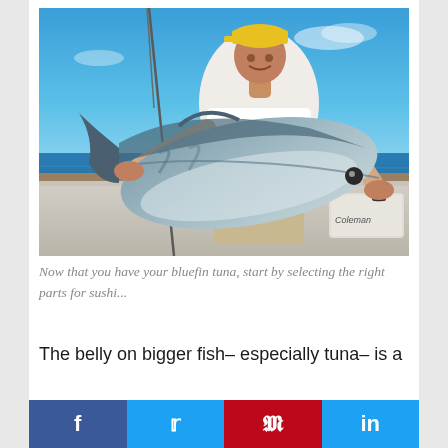[Figure (photo): A man wearing a white t-shirt and yellow cap standing on a boat, holding a large bluefin tuna with both hands. The ocean is visible in the background with a clear blue sky. Fishing rods are visible on the left side of the boat. A Coleman cooler is visible in the lower right corner.]
Now that you have your bluefin tuna, start by selecting the right parts for sushi...
The belly on bigger fish– especially tuna– is a
[Figure (infographic): Social media sharing bar with four buttons: Facebook (f), Twitter (bird icon), Pinterest (p), LinkedIn (in). Colors: dark blue, light blue, red, light blue respectively.]